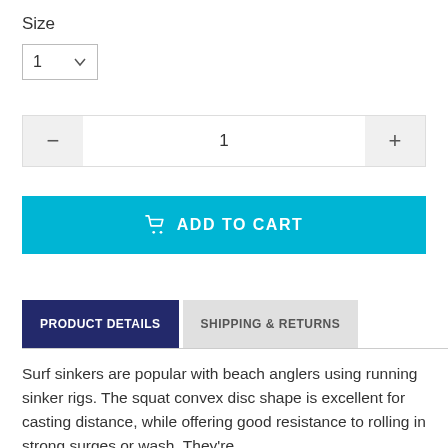Size
[Figure (screenshot): Dropdown selector showing value '1' with chevron arrow]
[Figure (screenshot): Quantity stepper control with minus button, value '1', and plus button]
[Figure (screenshot): ADD TO CART button in cyan/teal color with shopping cart icon]
[Figure (screenshot): Tab bar with 'PRODUCT DETAILS' active tab (dark blue) and 'SHIPPING & RETURNS' inactive tab (gray)]
Surf sinkers are popular with beach anglers using running sinker rigs. The squat convex disc shape is excellent for casting distance, while offering good resistance to rolling in strong surges or wash. They're